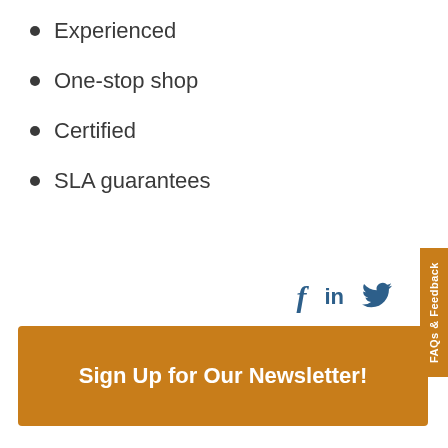Experienced
One-stop shop
Certified
SLA guarantees
[Figure (infographic): Social media icons: Facebook (f), LinkedIn (in), Twitter bird icon, arranged horizontally]
[Figure (infographic): Vertical orange tab on right edge reading 'FAQs & Feedback']
Sign Up for Our Newsletter!